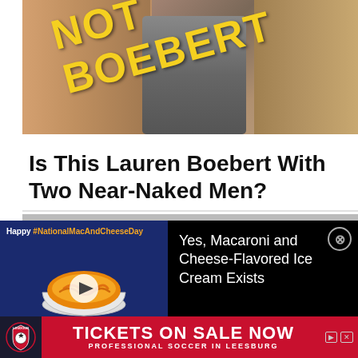[Figure (photo): Photo showing shirtless men with text overlay reading 'NOT BOEBERT' in large yellow letters diagonally across the image]
Is This Lauren Boebert With Two Near-Naked Men?
[Figure (photo): Advertisement for mac and cheese ice cream. Left side shows blue background with 'Happy #NationalMacAndCheeseDay' text and a bowl of mac and cheese with play button. Right side on black background reads 'Yes, Macaroni and Cheese-Flavored Ice Cream Exists']
[Figure (photo): Advertisement banner in red: Loudoun soccer club logo, 'TICKETS ON SALE NOW' in large white text, 'PROFESSIONAL SOCCER IN LEESBURG' in smaller text below]